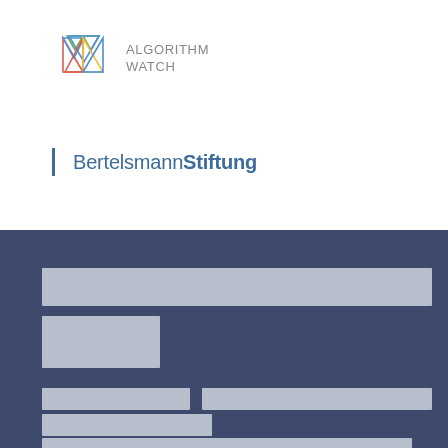[Figure (logo): AlgorithmWatch logo — geometric star/diamond made of colored triangles (green, blue, red, yellow outlines) next to the text ALGORITHM WATCH in gray uppercase letters]
[Figure (logo): Bertelsmann Stiftung logo — vertical blue bar on left, then text 'Bertelsmann' in regular weight and 'Stiftung' in bold, both in steel blue]
[Figure (other): Dark navy blue background section with multiple light gray placeholder/redacted content blocks arranged in rows]